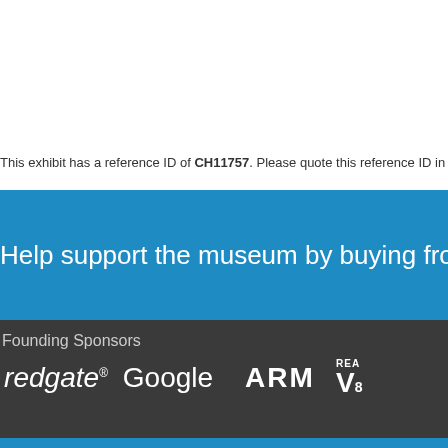This exhibit has a reference ID of CH11757. Please quote this reference ID in any commun
Help support the museum by buying from the museum shop
Founding Sponsors
[Figure (logo): Logos of founding sponsors: redgate, Google, ARM, and a partially visible fourth logo (REA...)]